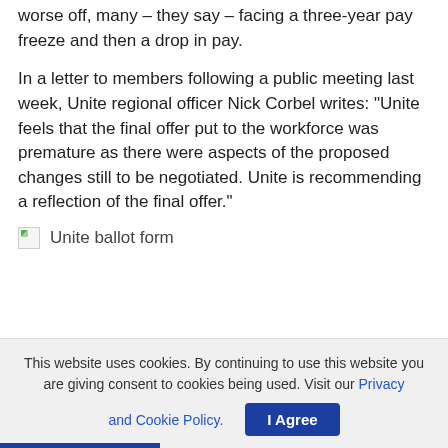worse off, many – they say – facing a three-year pay freeze and then a drop in pay.
In a letter to members following a public meeting last week, Unite regional officer Nick Corbel writes: “Unite feels that the final offer put to the workforce was premature as there were aspects of the proposed changes still to be negotiated. Unite is recommending a reflection of the final offer.”
[Figure (photo): Broken image placeholder with label 'Unite ballot form']
This website uses cookies. By continuing to use this website you are giving consent to cookies being used. Visit our Privacy and Cookie Policy.